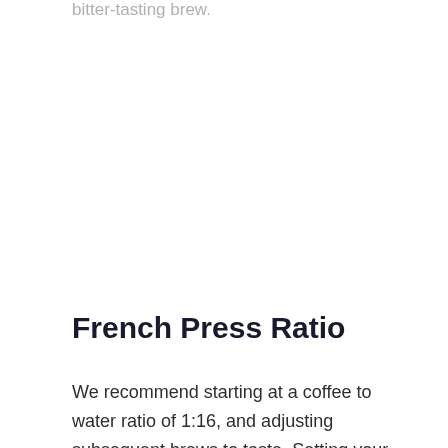bitter-tasting brew.
French Press Ratio
We recommend starting at a coffee to water ratio of 1:16, and adjusting subsequent brews to taste. Setting your French press on a kitchen scale when